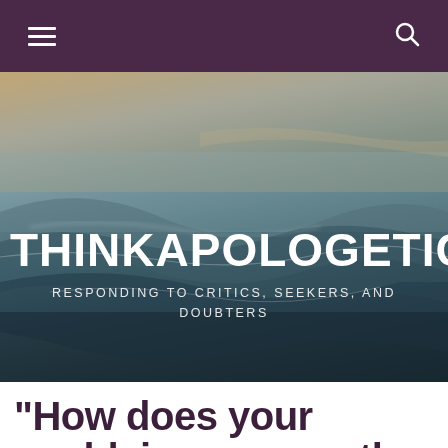Navigation bar with hamburger menu and search icon
[Figure (photo): Ocean wave photograph used as hero background image for the website header]
THINKAPOLOGETICS.C
RESPONDING TO CRITICS, SEEKERS, AND DOUBTERS
“How does your worldview answer the question ‘What